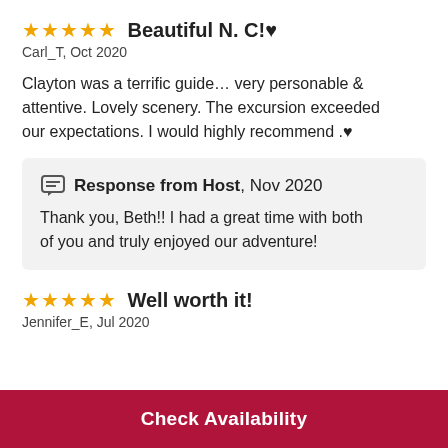★★★★★ Beautiful N. C!♥
Carl_T, Oct 2020
Clayton was a terrific guide… very personable & attentive. Lovely scenery. The excursion exceeded our expectations. I would highly recommend .♥
Response from Host, Nov 2020
Thank you, Beth!! I had a great time with both of you and truly enjoyed our adventure!
★★★★★ Well worth it!
Jennifer_E, Jul 2020
Check Availability